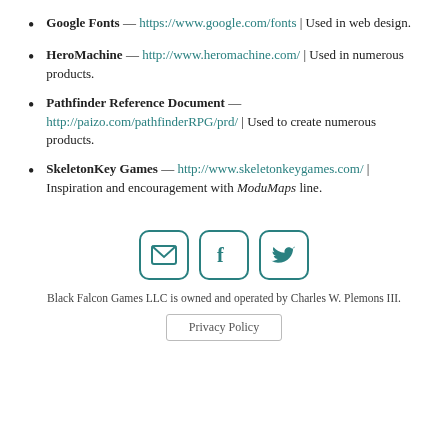Google Fonts — https://www.google.com/fonts | Used in web design.
HeroMachine — http://www.heromachine.com/ | Used in numerous products.
Pathfinder Reference Document — http://paizo.com/pathfinderRPG/prd/ | Used to create numerous products.
SkeletonKey Games — http://www.skeletonkeygames.com/ | Inspiration and encouragement with ModuMaps line.
[Figure (infographic): Three social media icon buttons in teal/dark cyan rounded square borders: envelope (email), Facebook, Twitter]
Black Falcon Games LLC is owned and operated by Charles W. Plemons III.
Privacy Policy